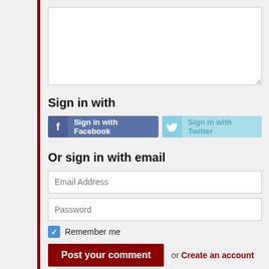[Figure (screenshot): Empty textarea input box for comment entry]
Sign in with
[Figure (infographic): Social sign-in buttons: Sign in with Facebook (blue) and Sign in with Twitter (light blue)]
Or sign in with email
[Figure (screenshot): Email Address input field (empty, placeholder text)]
[Figure (screenshot): Password input field (empty, placeholder text)]
Remember me
Post your comment or Create an account